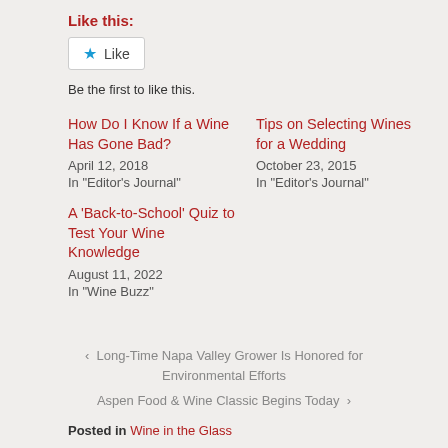Like this:
★ Like
Be the first to like this.
How Do I Know If a Wine Has Gone Bad?
April 12, 2018
In "Editor's Journal"
Tips on Selecting Wines for a Wedding
October 23, 2015
In "Editor's Journal"
A 'Back-to-School' Quiz to Test Your Wine Knowledge
August 11, 2022
In "Wine Buzz"
‹ Long-Time Napa Valley Grower Is Honored for Environmental Efforts
Aspen Food & Wine Classic Begins Today ›
Posted in Wine in the Glass